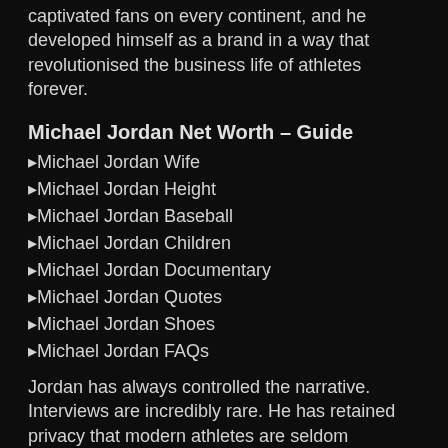captivated fans on every continent, and he developed himself as a brand in a way that revolutionised the business life of athletes forever.
Michael Jordan Net Worth – Guide
▶Michael Jordan Wife
▶Michael Jordan Height
▶Michael Jordan Baseball
▶Michael Jordan Children
▶Michael Jordan Documentary
▶Michael Jordan Quotes
▶Michael Jordan Shoes
▶Michael Jordan FAQs
Jordan has always controlled the narrative. Interviews are incredibly rare. He has retained privacy that modern athletes are seldom afforded. From net worth to the documentary that chronicled